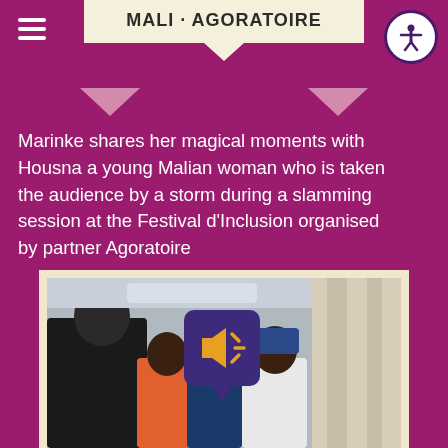MALI · AGORATOIRE
Marinke shares her magical moments with Housna a young Malian woman who is taken the audience by a storm during a slamming session at the Festival d'Inclusion organised by partner Agoratoire
[Figure (other): Audio/sound button icon: purple rounded square with speaker and sound wave icon in gold/orange, with triangular pointer at bottom]
[Figure (photo): Photograph of a group of people in an indoor setting, appearing to be at a festival or event. A young Black man is prominent on the left, with several other people visible including a woman in orange, a man in blue, and a woman with a blue head covering in white clothing. A lighter area with curtains is visible on the right side.]
Disclaimer